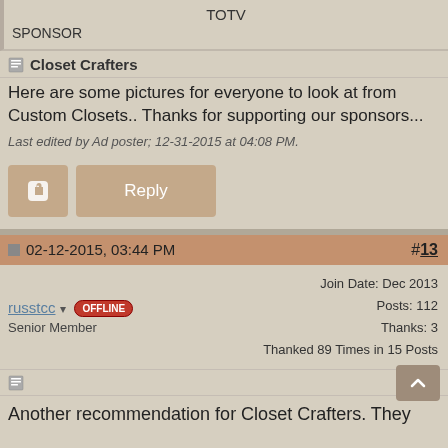TOTV
SPONSOR
Closet Crafters
Here are some pictures for everyone to look at from Custom Closets.. Thanks for supporting our sponsors...
Last edited by Ad poster; 12-31-2015 at 04:08 PM.
02-12-2015, 03:44 PM  #13
russtcc  OFFLINE
Senior Member
Join Date: Dec 2013
Posts: 112
Thanks: 3
Thanked 89 Times in 15 Posts
Another recommendation for Closet Crafters. They